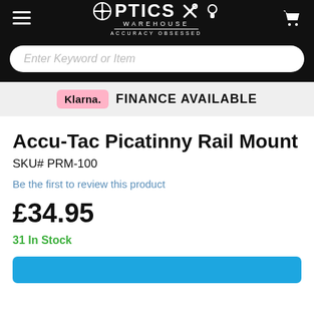Optics Warehouse — Accuracy Obsessed
Enter Keyword or Item
Klarna. FINANCE AVAILABLE
Accu-Tac Picatinny Rail Mount
SKU# PRM-100
Be the first to review this product
£34.95
31 In Stock